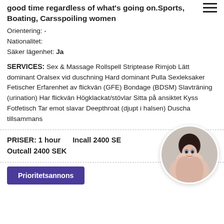good time regardless of what's going on.Sports, Boating, Carsspoiling women
Orientering: -
Nationalitet:
Säker lägenhet: Ja
SERVICES: Sex & Massage Rollspell Striptease Rimjob Lätt dominant Oralsex vid duschning Hard dominant Pulla Sexleksaker Fetischer Erfarenhet av flickvän (GFE) Bondage (BDSM) Slavträning (urination) Har flickvän Högklackat/stövlar Sitta på ansiktet Kyss Fotfetisch Tar emot slavar Deepthroat (djupt i halsen) Duscha tillsammans
PRISER: 1 hour   Incall 2400 SEK   Outcall 2400 SEK
[Figure (photo): Circular profile photo of a woman]
Prioritetsannons